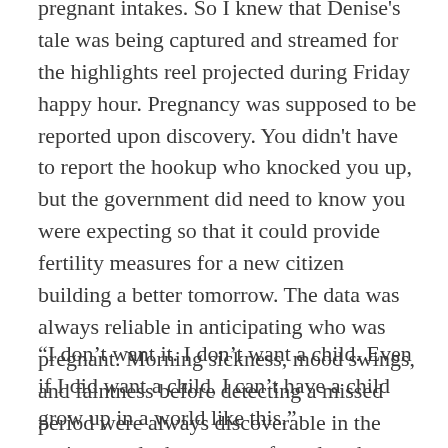pregnant intakes. So I knew that Denise's tale was being captured and streamed for the highlights reel projected during Friday happy hour. Pregnancy was supposed to be reported upon discovery. You didn't have to report the hookup who knocked you up, but the government did need to know you were expecting so that it could provide fertility measures for a new citizen building a better tomorrow. The data was always reliable in anticipating who was pregnant. Morning sickness, mood swings, and faintness before detecting a missed period were always discoverable in the reviews and what you confessed to the social networks.
“I don’t want it. I don’t want a child. Even if I did want a child, I can’t have a child grow up in a world like this.”